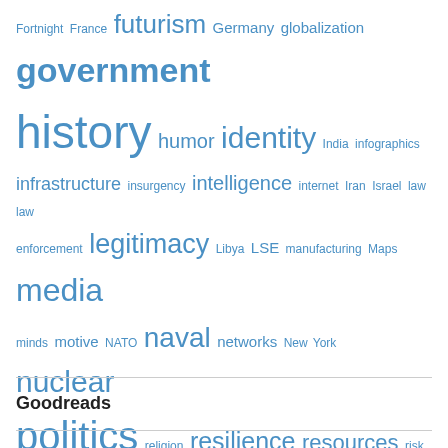[Figure (infographic): Tag cloud with words in varying font sizes, all in blue, representing topics: Fortnight, France, futurism, Germany, globalization, government, history, humor, identity, India, infographics, infrastructure, insurgency, intelligence, internet, Iran, Israel, law, law enforcement, legitimacy, Libya, LSE, manufacturing, Maps, media, minds, motive, NATO, naval, networks, New York, nuclear, politics, religion, resilience, resources, risk, Russia, science, separatism, strategy, technology, terrorism, United Kingdom, United States, urban, weapons, west, World War II, Yemen]
Goodreads